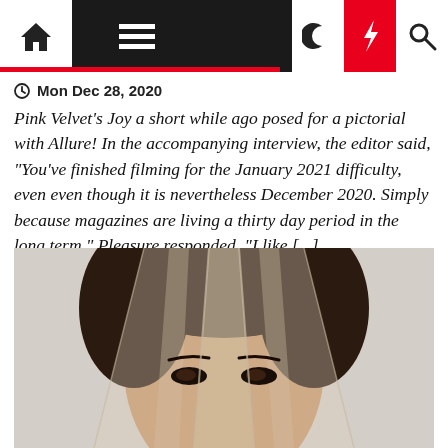Navigation bar with home, menu, moon, bolt, and search icons
Mon Dec 28, 2020
Pink Velvet's Joy a short while ago posed for a pictorial with Allure! In the accompanying interview, the editor said, "You've finished filming for the January 2021 difficulty, even even though it is nevertheless December 2020. Simply because magazines are living a thirty day period in the long term." Pleasure responded, "I like [...]
[Figure (photo): Close-up portrait of a woman (Joy from Red Velvet) with dark wet hair, draped in a sheer translucent veil covering most of her face, looking directly at the camera. Fashion editorial style photo for Allure magazine.]